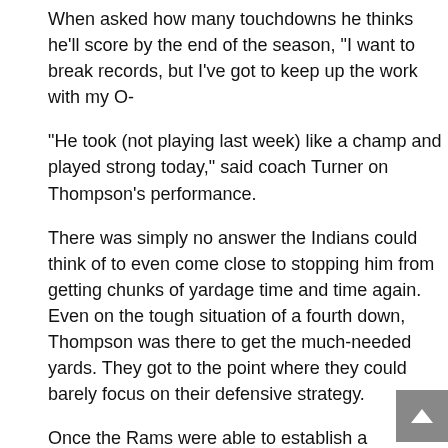When asked how many touchdowns he thinks he'll score by the end of the season, "I want to break records, but I've got to keep up the work with my O-line."
"He took (not playing last week) like a champ and played strong today," said coach Turner on Thompson's performance.
There was simply no answer the Indians could think of to even come close to stopping him from getting chunks of yardage time and time again. Even on the tough situation of a fourth down, Thompson was there to get the much-needed yards. They got to the point where they could barely focus on their defensive strategy.
Once the Rams were able to establish a comfortable lead, they relaxed and let up. Mesa went on to lead as much as 35-0 with 6:13 remaining in the game.
Rams quarterback Jeff Miller also had a solid outing, completing passes and a TD. Miller played conservative, yet smart, not making any silly mistakes to give momentum to the Indians.
Mesa's defense and special teams played a key role as well,